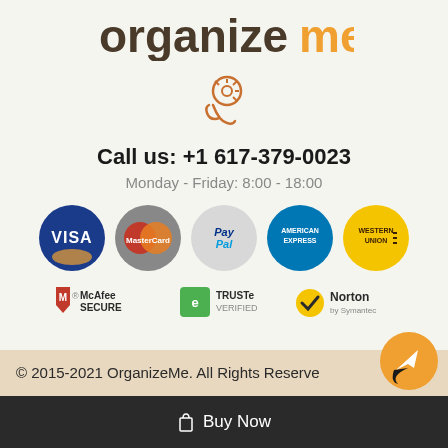[Figure (logo): OrganizeMe logo with dark brown 'organize' and orange 'me' text]
[Figure (illustration): Customer support icon: gear with headset/phone arc in orange outline style]
Call us: +1 617-379-0023
Monday - Friday: 8:00 - 18:00
[Figure (infographic): Payment method logos: Visa, MasterCard, PayPal, American Express, Western Union]
[Figure (infographic): Security badges: McAfee SECURE, TRUSTe VERIFIED, Norton by Symantec]
© 2015-2021 OrganizeMe. All Rights Reserved
[Figure (illustration): Orange chat/send button (paper plane icon) at bottom right]
Buy Now